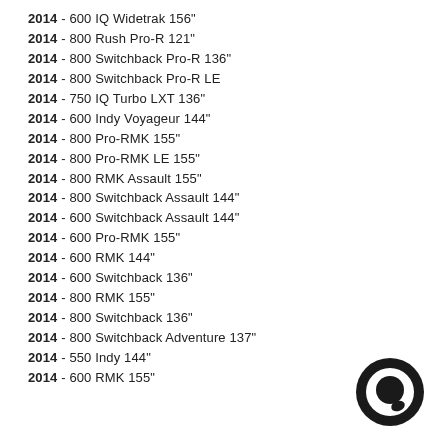2014 - 600 IQ Widetrak 156"
2014 - 800 Rush Pro-R 121"
2014 - 800 Switchback Pro-R 136"
2014 - 800 Switchback Pro-R LE
2014 - 750 IQ Turbo LXT 136"
2014 - 600 Indy Voyageur 144"
2014 - 800 Pro-RMK 155"
2014 - 800 Pro-RMK LE 155"
2014 - 800 RMK Assault 155"
2014 - 800 Switchback Assault 144"
2014 - 600 Switchback Assault 144"
2014 - 600 Pro-RMK 155"
2014 - 600 RMK 144"
2014 - 600 Switchback 136"
2014 - 800 RMK 155"
2014 - 800 Switchback 136"
2014 - 800 Switchback Adventure 137"
2014 - 550 Indy 144"
2014 - 600 RMK 155"
[Figure (logo): Circular logo with dark ring and chat bubble icon]